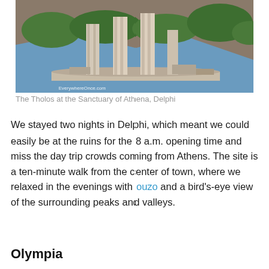[Figure (photo): Photo of the Tholos at the Sanctuary of Athena, Delphi — ancient Greek columns on a circular base with rocky hillside background, watermark 'EverywhereOnce.com']
The Tholos at the Sanctuary of Athena, Delphi
We stayed two nights in Delphi, which meant we could easily be at the ruins for the 8 a.m. opening time and miss the day trip crowds coming from Athens. The site is a ten-minute walk from the center of town, where we relaxed in the evenings with ouzo and a bird's-eye view of the surrounding peaks and valleys.
Olympia